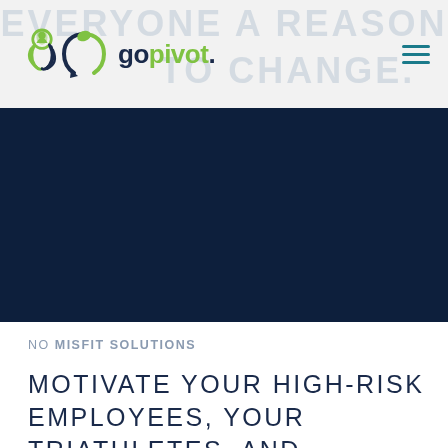gopivot. | EVERYONE A REASON TO CHANGE.
[Figure (illustration): Dark navy blue hero section background]
NO MISFIT SOLUTIONS
MOTIVATE YOUR HIGH-RISK EMPLOYEES, YOUR TRIATHLETES, AND